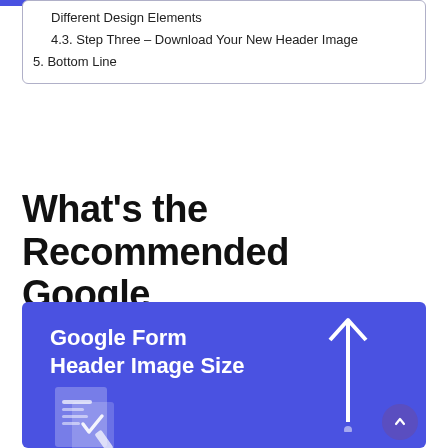Different Design Elements
4.3. Step Three – Download Your New Header Image
5. Bottom Line
What's the Recommended Google Form Header Image Size?
[Figure (infographic): Blue infographic with white bold text reading 'Google Form Header Image Size', an upward-pointing arrow on the right, a form/document icon at the bottom left, and a scroll-to-top button at the bottom right.]